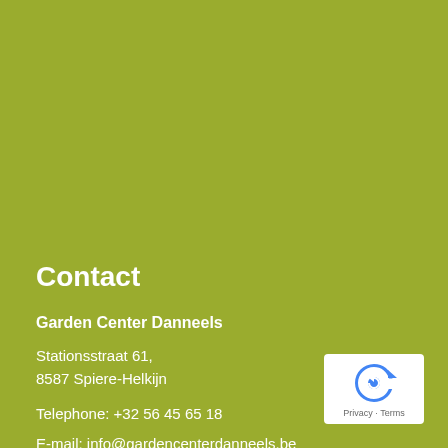Contact
Garden Center Danneels
Stationsstraat 61,
8587 Spiere-Helkijn
Telephone: +32 56 45 65 18
E-mail: info@gardencenterdanneels.be
Openingsuren
[Figure (logo): reCAPTCHA privacy badge with blue arrow icon and 'Privacy · Terms' text]